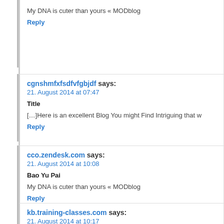My DNA is cuter than yours « MODblog
Reply
cgnshmfxfsdfvfgbjdf says:
21. August 2014 at 07:47
Title
[...]Here is an excellent Blog You might Find Intriguing that w
Reply
cco.zendesk.com says:
21. August 2014 at 10:08
Bao Yu Pai
My DNA is cuter than yours « MODblog
Reply
kb.training-classes.com says:
21. August 2014 at 10:17
Seth Archie
My DNA is cuter than yours « MODblog
Reply